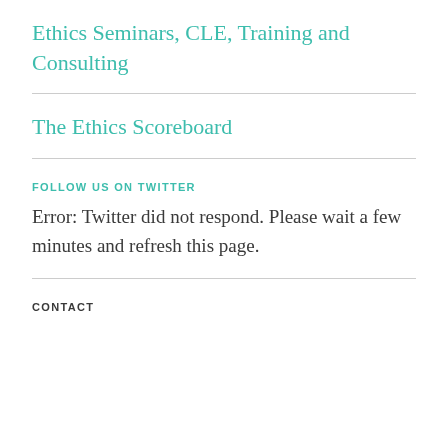Ethics Seminars, CLE, Training and Consulting
The Ethics Scoreboard
FOLLOW US ON TWITTER
Error: Twitter did not respond. Please wait a few minutes and refresh this page.
CONTACT